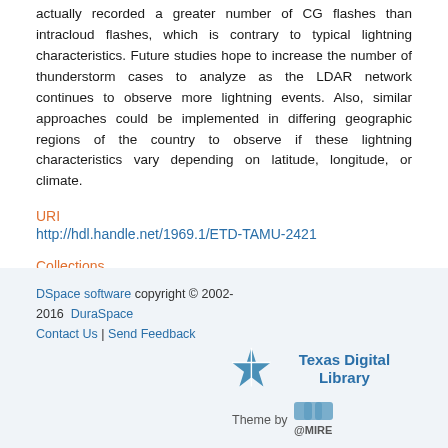actually recorded a greater number of CG flashes than intracloud flashes, which is contrary to typical lightning characteristics. Future studies hope to increase the number of thunderstorm cases to analyze as the LDAR network continues to observe more lightning events. Also, similar approaches could be implemented in differing geographic regions of the country to observe if these lightning characteristics vary depending on latitude, longitude, or climate.
URI
http://hdl.handle.net/1969.1/ETD-TAMU-2421
Collections
Texas A&M University at College Station
DSpace software copyright © 2002-2016  DuraSpace  Contact Us | Send Feedback   Theme by @MIRE  Texas Digital Library